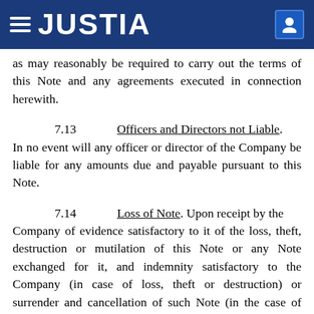JUSTIA
as may reasonably be required to carry out the terms of this Note and any agreements executed in connection herewith.
7.13   Officers and Directors not Liable. In no event will any officer or director of the Company be liable for any amounts due and payable pursuant to this Note.
7.14   Loss of Note. Upon receipt by the Company of evidence satisfactory to it of the loss, theft, destruction or mutilation of this Note or any Note exchanged for it, and indemnity satisfactory to the Company (in case of loss, theft or destruction) or surrender and cancellation of such Note (in the case of mutilation), the Company will make and deliver in lieu of such Note a new Note of like tenor.